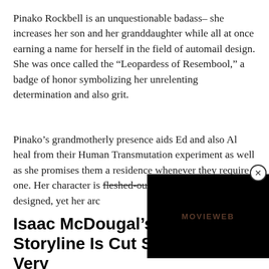Pinako Rockbell is an unquestionable badass– she increases her son and her granddaughter while all at once earning a name for herself in the field of automail design. She was once called the “Leopardess of Resembool,” a badge of honor symbolizing her unrelenting determination and also grit.
Pinako’s grandmotherly presence aids Ed and also Al heal from their Human Transmutation experiment as well as she promises them a residence whenever they require one. Her character is fleshed-out and extremely properly designed, yet her arc is scattered.
[Figure (screenshot): Black video player overlay with MovieWeb logo text in dark red/brown color, with a close (X) button in the top-right corner]
Isaac McDougal’s R[ising Flame] Storyline Is Cut Short In The Very First Episod[e]